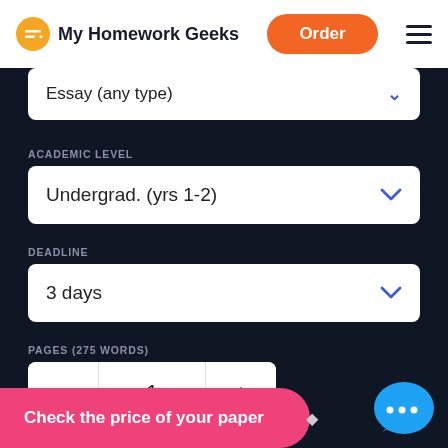[Figure (logo): My Homework Geeks logo with orange face icon]
Essay (any type)
ACADEMIC LEVEL
Undergrad. (yrs 1-2)
DEADLINE
3 days
PAGES (275 WORDS)
1
Check the price of your paper